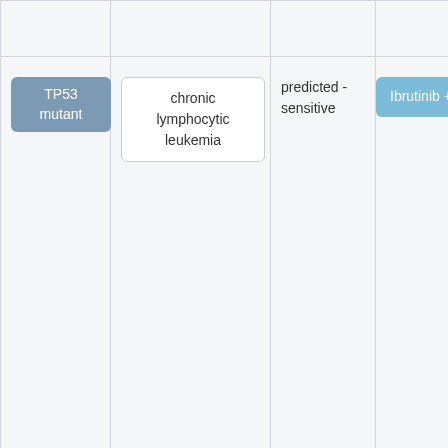| Biomarker | Cancer Type | Sensitivity | Treatment |
| --- | --- | --- | --- |
| TP53 mutant | chronic lymphocytic leukemia | predicted - sensitive | Ibrutinib + Venetoc... |